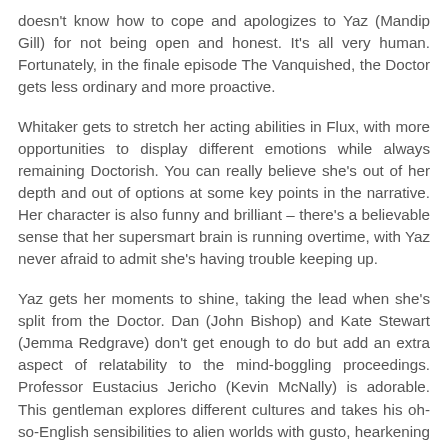doesn't know how to cope and apologizes to Yaz (Mandip Gill) for not being open and honest. It's all very human. Fortunately, in the finale episode The Vanquished, the Doctor gets less ordinary and more proactive.
Whitaker gets to stretch her acting abilities in Flux, with more opportunities to display different emotions while always remaining Doctorish. You can really believe she's out of her depth and out of options at some key points in the narrative. Her character is also funny and brilliant – there's a believable sense that her supersmart brain is running overtime, with Yaz never afraid to admit she's having trouble keeping up.
Yaz gets her moments to shine, taking the lead when she's split from the Doctor. Dan (John Bishop) and Kate Stewart (Jemma Redgrave) don't get enough to do but add an extra aspect of relatability to the mind-boggling proceedings. Professor Eustacius Jericho (Kevin McNally) is adorable. This gentleman explores different cultures and takes his oh-so-English sensibilities to alien worlds with gusto, hearkening back to Doctor Who's H.G. Wells roots.